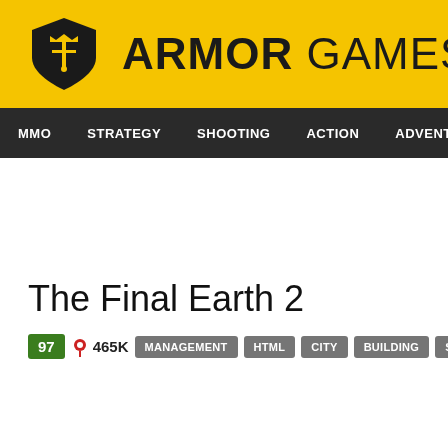ARMOR GAMES
MMO  STRATEGY  SHOOTING  ACTION  ADVENTURE  P
The Final Earth 2
97  465K  MANAGEMENT  HTML  CITY  BUILDING  STRATEGY